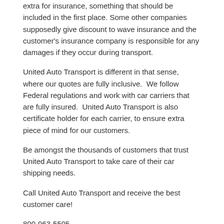extra for insurance, something that should be included in the first place. Some other companies supposedly give discount to wave insurance and the customer's insurance company is responsible for any damages if they occur during transport.
United Auto Transport is different in that sense, where our quotes are fully inclusive. We follow Federal regulations and work with car carriers that are fully insured. United Auto Transport is also certificate holder for each carrier, to ensure extra piece of mind for our customers.
Be amongst the thousands of customers that trust United Auto Transport to take care of their car shipping needs.
Call United Auto Transport and receive the best customer care!
800-963-5505
[Figure (illustration): Decorative divider with a small wave/swirl icon between two horizontal lines]
United Auto Transport
August 30, 2011  |  Author: admin  |  No comments  |  Categories: Car Shipping · International Auto Transport  |  Tags: door to door · fully insured · international · local · transport